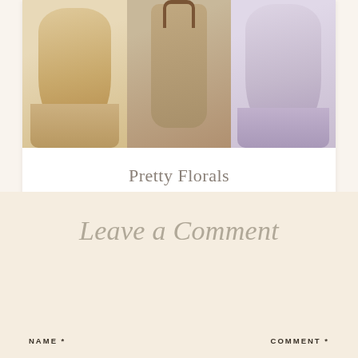[Figure (photo): Three product images side by side: a golden floral puff-sleeve blouse on the left, a woven straw tote bag with brown leather handles in the center, and a lavender floral puff-sleeve blouse on the right]
Pretty Florals
READ THE POST
Leave a Comment
NAME *
COMMENT *